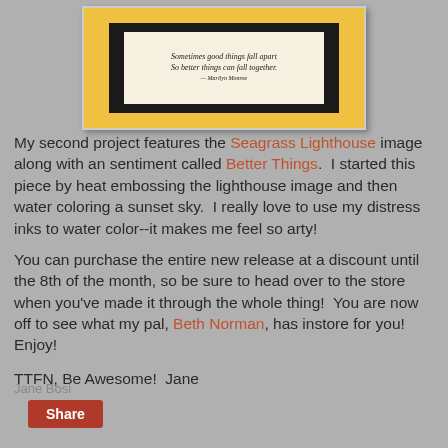[Figure (photo): A handmade greeting card with a yellow/gold background. The card features a black-matted panel with a cream-colored insert showing a handwritten-style quote: 'Sometimes good things fall apart So better things can fall together.' The card is propped up at an angle on a gray background.]
My second project features the Seagrass Lighthouse image along with an sentiment called Better Things.  I started this piece by heat embossing the lighthouse image and then water coloring a sunset sky.  I really love to use my distress inks to water color--it makes me feel so arty!
You can purchase the entire new release at a discount until the 8th of the month, so be sure to head over to the store when you've made it through the whole thing!  You are now off to see what my pal, Beth Norman, has instore for you!  Enjoy!
TTFN, Be Awesome!  Jane
Jane Bosi
Share